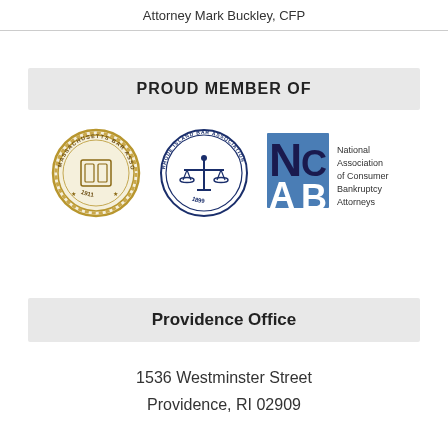Attorney Mark Buckley, CFP
PROUD MEMBER OF
[Figure (logo): Three membership logos: Massachusetts Bar Association (gold seal, 1911), Rhode Island Bar Association (blue circular seal, 1899), and National Association of Consumer Bankruptcy Attorneys (NACBA) with blue square graphic]
Providence Office
1536 Westminster Street
Providence, RI 02909